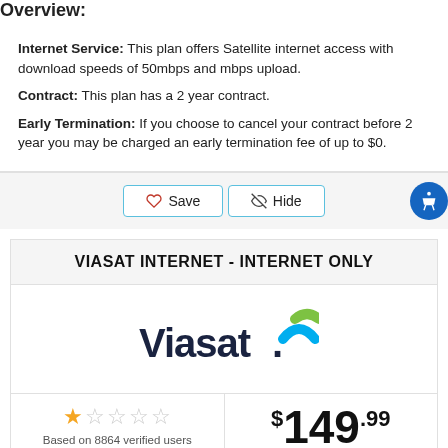Overview:
Internet Service: This plan offers Satellite internet access with download speeds of 50mbps and mbps upload.
Contract: This plan has a 2 year contract.
Early Termination: If you choose to cancel your contract before 2 year you may be charged an early termination fee of up to $0.
Save   Hide
VIASAT INTERNET - INTERNET ONLY
[Figure (logo): Viasat logo with stylized blue and green wave mark]
★☆☆☆☆ Based on 8864 verified users   $149.99